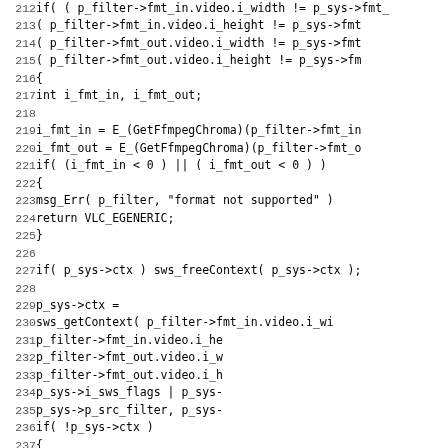[Figure (screenshot): Source code listing in monospace font, lines 212-243, showing C code for a video filter context initialization function using ffmpeg/swscale APIs]